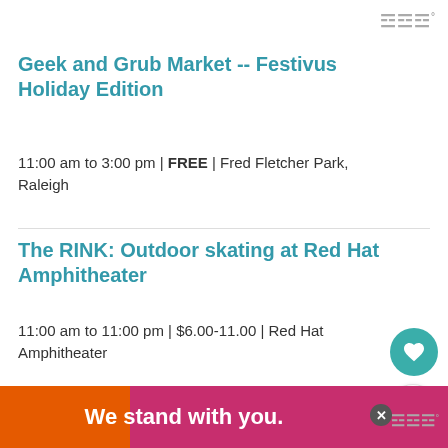w°
Geek and Grub Market -- Festivus Holiday Edition
11:00 am to 3:00 pm | FREE | Fred Fletcher Park, Raleigh
The RINK: Outdoor skating at Red Hat Amphitheater
11:00 am to 11:00 pm | $6.00-11.00 | Red Hat Amphitheater
42th Annual Cary Jaycees Christmas Parade
2:00 pm to 4:00 pm | FREE | Downtown Cary
[Figure (other): What's Next promo box with Santa image and text 'Happy Holly Days Parade...']
We stand with you.